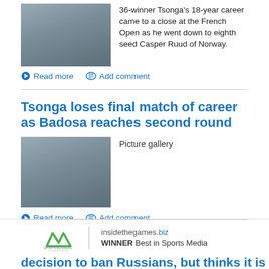[Figure (photo): Photo of Jo-Wilfried Tsonga at French Open retirement ceremony, holding a trophy plaque, with people around him]
36-winner Tsonga's 18-year career came to a close at the French Open as he went down to eighth seed Casper Ruud of Norway.
➔ Read more   💬 Add comment
Tsonga loses final match of career as Badosa reaches second round
[Figure (photo): Photo of Jo-Wilfried Tsonga at French Open retirement ceremony]
Picture gallery
➔ Read more   💬 Add comment
[Figure (logo): Sports Business Awards 2017 logo and insidethegames.biz WINNER Best in Sports Media]
decision to ban Russians, but thinks it is